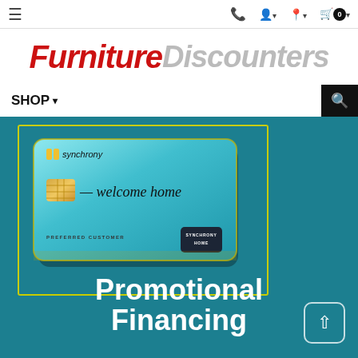Navigation bar with menu, phone, account, location, and cart icons
[Figure (logo): Furniture Discounters logo in red italic and silver italic text]
SHOP ▾
[Figure (photo): Synchrony Home credit card (teal/aqua color with gold chip, welcome home script, PREFERRED CUSTOMER text) on a teal background with 'Promotional Financing' text overlay]